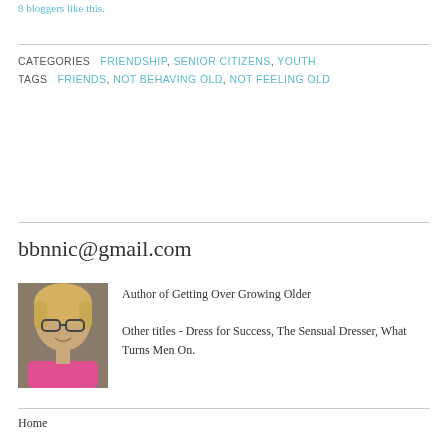8 bloggers like this.
CATEGORIES: FRIENDSHIP, SENIOR CITIZENS, YOUTH
TAGS: FRIENDS, NOT BEHAVING OLD, NOT FEELING OLD
bbnnic@gmail.com
[Figure (photo): Photo of a woman with blonde hair wearing glasses and a pink top, smiling.]
Author of Getting Over Growing Older
Other titles - Dress for Success, The Sensual Dresser, What Turns Men On.
Home